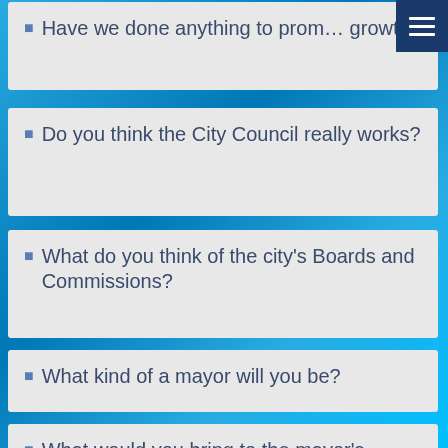Have we done anything to promote growth?
Do you think the City Council really works?
What do you think of the city's Boards and Commissions?
What kind of a mayor will you be?
What would you bring to the mayor's position?
What do you want to focus on as